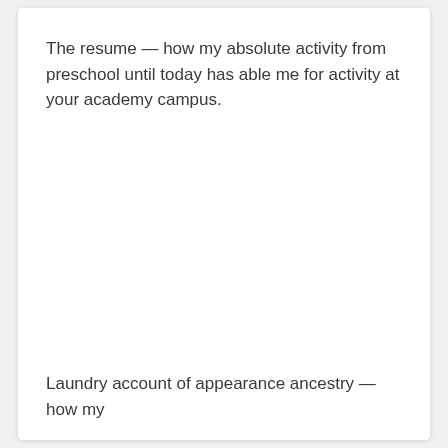The resume — how my absolute activity from preschool until today has able me for activity at your academy campus.
Laundry account of appearance ancestry — how my